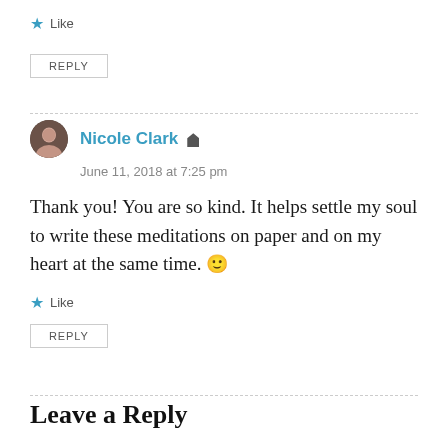Like
REPLY
Nicole Clark
June 11, 2018 at 7:25 pm
Thank you! You are so kind. It helps settle my soul to write these meditations on paper and on my heart at the same time. 🙂
Like
REPLY
Leave a Reply